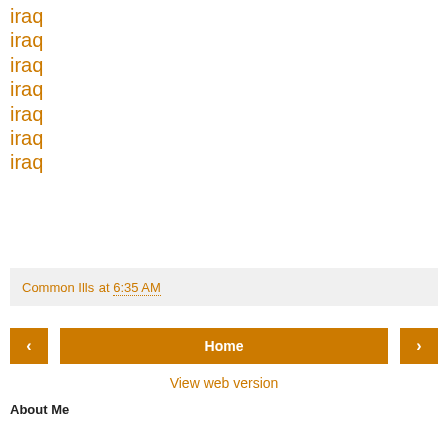iraq
iraq
iraq
iraq
iraq
iraq
iraq
Common Ills at 6:35 AM
Home
View web version
About Me